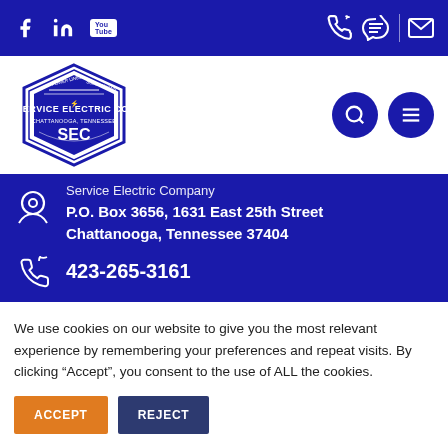[Figure (logo): Service Electric Co. Chattanooga Tennessee hexagonal logo with power lines and substation imagery]
Service Electric Company
P.O. Box 3656, 1631 East 25th Street
Chattanooga, Tennessee 37404
423-265-3161
We use cookies on our website to give you the most relevant experience by remembering your preferences and repeat visits. By clicking “Accept”, you consent to the use of ALL the cookies.
ACCEPT
REJECT